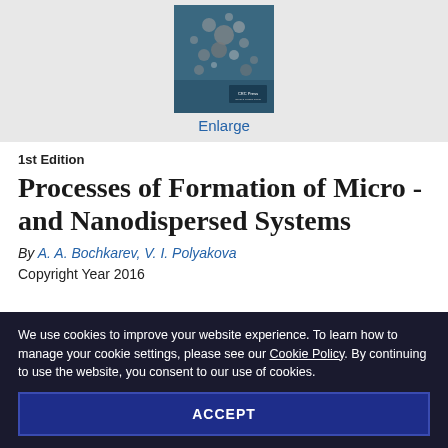[Figure (photo): Book cover of 'Processes of Formation of Micro -and Nanodispersed Systems' published by CRC Press, showing microscopic particles on a dark teal background]
Enlarge
1st Edition
Processes of Formation of Micro -and Nanodispersed Systems
By A. A. Bochkarev, V. I. Polyakova
Copyright Year 2016
We use cookies to improve your website experience. To learn how to manage your cookie settings, please see our Cookie Policy. By continuing to use the website, you consent to our use of cookies.
ACCEPT